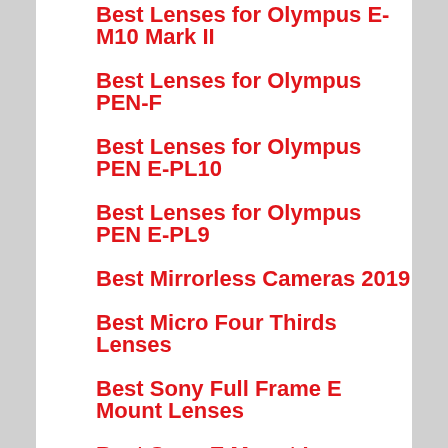Best Lenses for Olympus E-M10 Mark II
Best Lenses for Olympus PEN-F
Best Lenses for Olympus PEN E-PL10
Best Lenses for Olympus PEN E-PL9
Best Mirrorless Cameras 2019
Best Micro Four Thirds Lenses
Best Sony Full Frame E Mount Lenses
Best Sony E Mount Lenses
Best MicroSD Cards
Best XQD Cards
Best CompactFlash Cards
Best CFexpress Cards
Best CFexpress Card Readers
Best CFast Cards